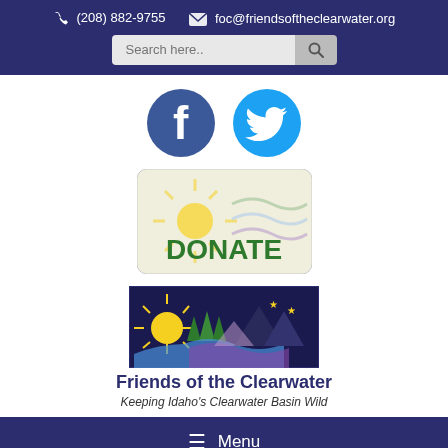(208) 882-9755  foc@friendsoftheclearwater.org
[Figure (logo): Facebook and Twitter social media icons]
[Figure (logo): Donate button with sun rays graphic]
[Figure (logo): Friends of the Clearwater logo with nature scene]
Friends of the Clearwater
Keeping Idaho's Clearwater Basin Wild
≡ Menu
Learn More